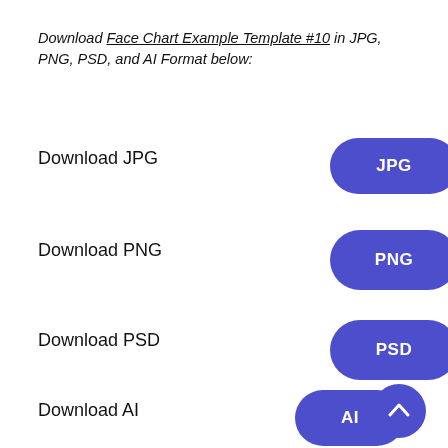Download Face Chart Example Template #10 in JPG, PNG, PSD, and AI Format below:
Download JPG  [JPG button]
Download PNG  [PNG button]
Download PSD  [PSD button]
Download AI  [AI button]